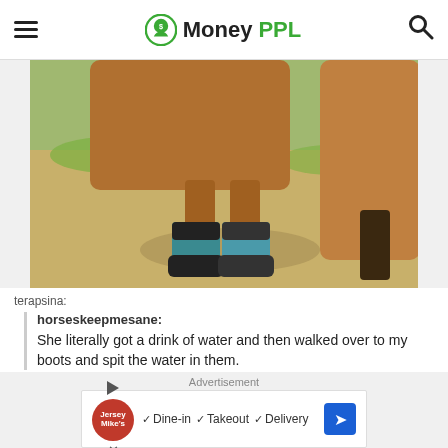MoneyPPL
[Figure (photo): Close-up photo of a horse's front legs wearing teal/blue cowboy boots, standing on dry grass/dirt, with a brown horse body visible above.]
terapsina:
horseskeepmesane: She literally got a drink of water and then walked over to my boots and spit the water in them.
Was it revenge for the braids?
Advertisement
[Figure (other): Advertisement banner: Jersey Mike's logo with Dine-in, Takeout, Delivery checkmarks and a blue arrow icon.]